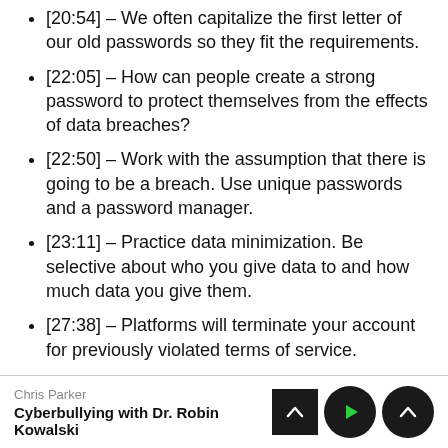[20:54] – We often capitalize the first letter of our old passwords so they fit the requirements.
[22:05] – How can people create a strong password to protect themselves from the effects of data breaches?
[22:50] – Work with the assumption that there is going to be a breach. Use unique passwords and a password manager.
[23:11] – Practice data minimization. Be selective about who you give data to and how much data you give them.
[27:38] – Platforms will terminate your account for previously violated terms of service.
Chris Parker
Cyberbullying with Dr. Robin Kowalski